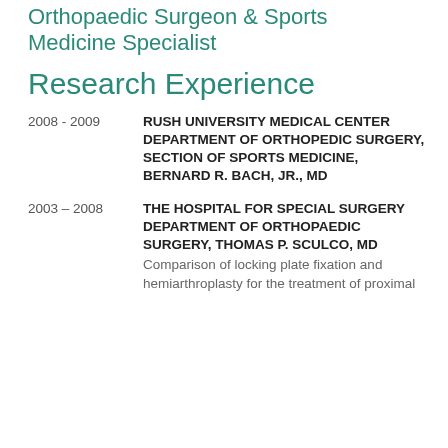Orthopaedic Surgeon & Sports Medicine Specialist
Research Experience
2008 - 2009
RUSH UNIVERSITY MEDICAL CENTER DEPARTMENT OF ORTHOPEDIC SURGERY, SECTION OF SPORTS MEDICINE, BERNARD R. BACH, JR., MD
2003 – 2008
THE HOSPITAL FOR SPECIAL SURGERY DEPARTMENT OF ORTHOPAEDIC SURGERY, THOMAS P. SCULCO, MD
Comparison of locking plate fixation and hemiarthroplasty for the treatment of proximal